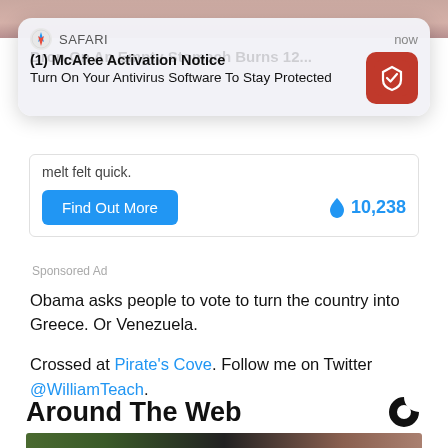[Figure (screenshot): Top image strip showing a pink/skin-toned background image]
[Figure (screenshot): Safari browser notification popup: '(1) McAfee Activation Notice - Turn On Your Antivirus Software To Stay Protected' with McAfee red icon, timestamp 'now']
melt felt quick.
Find Out More   🔥 10,238
Sponsored Ad
Obama asks people to vote to turn the country into Greece. Or Venezuela.
Crossed at Pirate's Cove. Follow me on Twitter @WilliamTeach.
Around The Web
[Figure (photo): Bottom thumbnail image showing a game logo 'Scop' and a person's face]